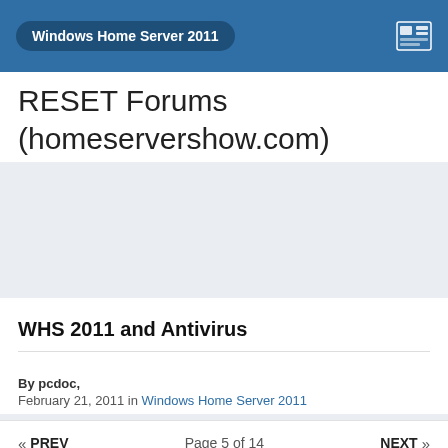Windows Home Server 2011
RESET Forums (homeservershow.com)
[Figure (other): Gray banner/advertisement area]
WHS 2011 and Antivirus
By pcdoc,
February 21, 2011 in Windows Home Server 2011
« PREV   Page 5 of 14   NEXT »